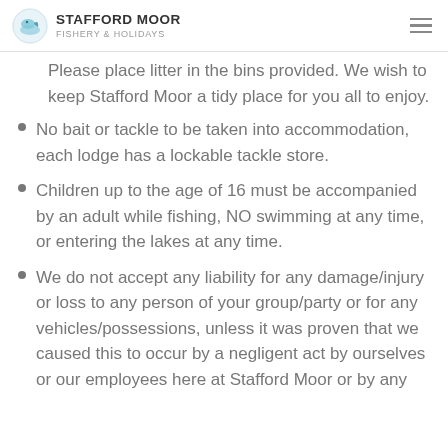STAFFORD MOOR FISHERY & HOLIDAYS
Please place litter in the bins provided. We wish to keep Stafford Moor a tidy place for you all to enjoy.
No bait or tackle to be taken into accommodation, each lodge has a lockable tackle store.
Children up to the age of 16 must be accompanied by an adult while fishing, NO swimming at any time, or entering the lakes at any time.
We do not accept any liability for any damage/injury or loss to any person of your group/party or for any vehicles/possessions, unless it was proven that we caused this to occur by a negligent act by ourselves or our employees here at Stafford Moor or by any